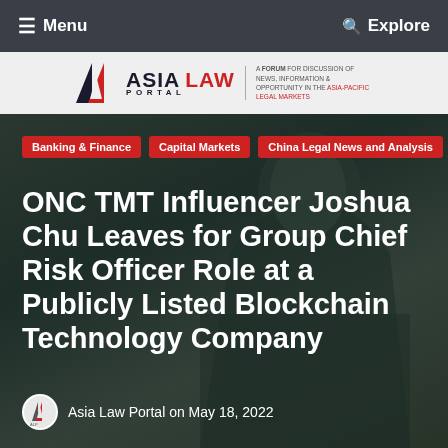≡ Menu   🔍 Explore
[Figure (logo): Asia Law Portal logo — A-triangle icon, ASIA LAW PORTAL text, tagline: A FORUM FOR DISCUSSION OF NEWS, INFORMATION & OPPORTUNITY IN THE ASIA-PACIFIC LEGAL MARKETS]
[Figure (photo): Dark background hero image with silhouette of a person in suit, semi-abstract green-dark overlay]
Banking & Finance
Capital Markets
China Legal News and Analysis
ONC TMT Influencer Joshua Chu Leaves for Group Chief Risk Officer Role at a Publicly Listed Blockchain Technology Company
Asia Law Portal on May 18, 2022